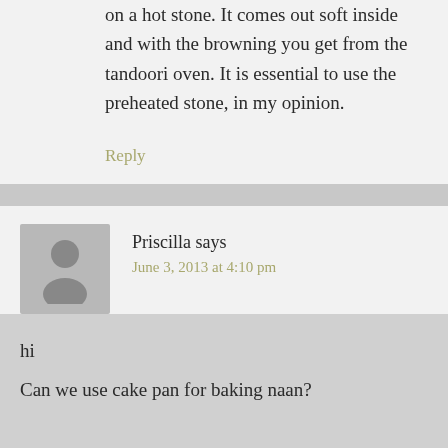on a hot stone. It comes out soft inside and with the browning you get from the tandoori oven. It is essential to use the preheated stone, in my opinion.
Reply
Priscilla says
June 3, 2013 at 4:10 pm
hi
Can we use cake pan for baking naan?